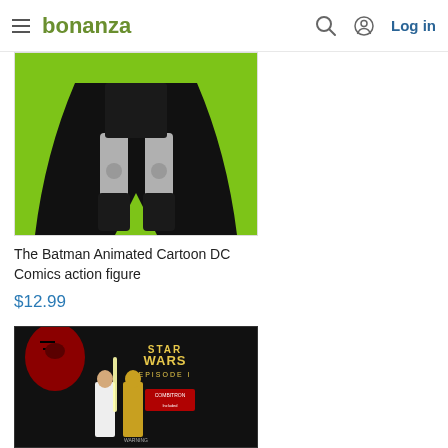bonanza  Log in
[Figure (photo): Batman animated cartoon DC Comics action figure showing legs and cape against bright green background]
The Batman Animated Cartoon DC Comics action figure
$12.99
[Figure (photo): Star Wars Episode I action figure packaging in dark background showing Carib Manevell figure with Darth Maul imagery]